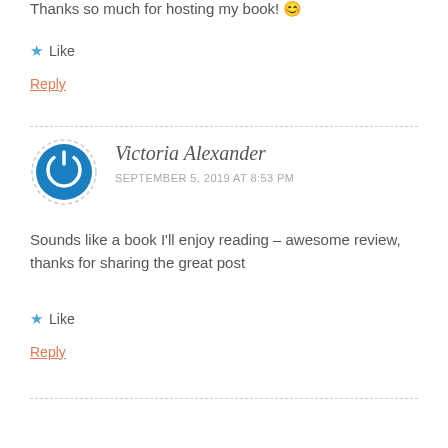Thanks so much for hosting my book! 😊
★ Like
Reply
Victoria Alexander
SEPTEMBER 5, 2019 AT 8:53 PM
Sounds like a book I'll enjoy reading – awesome review, thanks for sharing the great post
★ Like
Reply